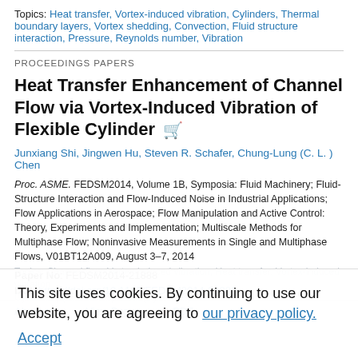Topics: Heat transfer, Vortex-induced vibration, Cylinders, Thermal boundary layers, Vortex shedding, Convection, Fluid structure interaction, Pressure, Reynolds number, Vibration
PROCEEDINGS PAPERS
Heat Transfer Enhancement of Channel Flow via Vortex-Induced Vibration of Flexible Cylinder
Junxiang Shi, Jingwen Hu, Steven R. Schafer, Chung-Lung (C. L. ) Chen
Proc. ASME. FEDSM2014, Volume 1B, Symposia: Fluid Machinery; Fluid-Structure Interaction and Flow-Induced Noise in Industrial Applications; Flow Applications in Aerospace; Flow Manipulation and Active Control: Theory, Experiments and Implementation; Multiscale Methods for Multiphase Flow; Noninvasive Measurements in Single and Multiphase Flows, V01BT12A009, August 3–7, 2014
Paper No: FEDSM2014-21888
DOI: https://doi.org/10.1115/FEDSM2014-21888
Abstract   View Paper   PDF
This site uses cookies. By continuing to use our website, you are agreeing to our privacy policy. Accept